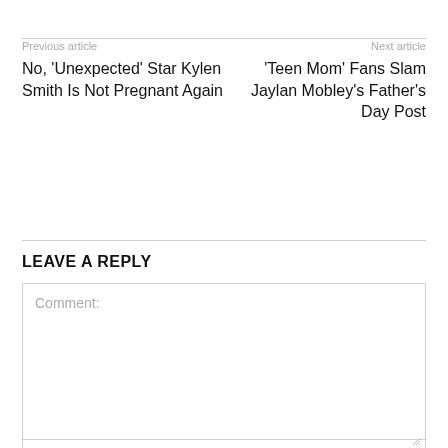Previous article
No, 'Unexpected' Star Kylen Smith Is Not Pregnant Again
Next article
'Teen Mom' Fans Slam Jaylan Mobley's Father's Day Post
LEAVE A REPLY
Comment: